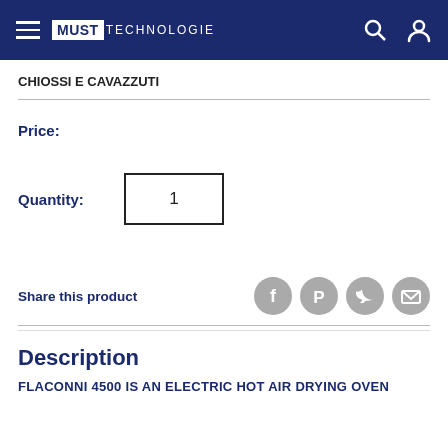MUST TECHNOLOGIE
CHIOSSI E CAVAZZUTI
Price:
Quantity: 1
Share this product
Description
FLACONNI 4500 IS AN ELECTRIC HOT AIR DRYING OVEN